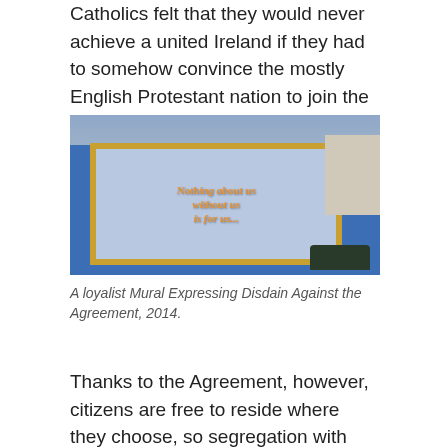Catholics felt that they would never achieve a united Ireland if they had to somehow convince the mostly English Protestant nation to join the Republic through peaceful means alone.
[Figure (photo): A loyalist mural on a blue wall with a golden-framed mosaic board reading 'Nothing about us without us is for us' in orange gothic lettering on a blue and white tiled background. A house and car are visible to the right.]
A loyalist Mural Expressing Disdain Against the Agreement, 2014.
Thanks to the Agreement, however, citizens are free to reside where they choose, so segregation with Northern